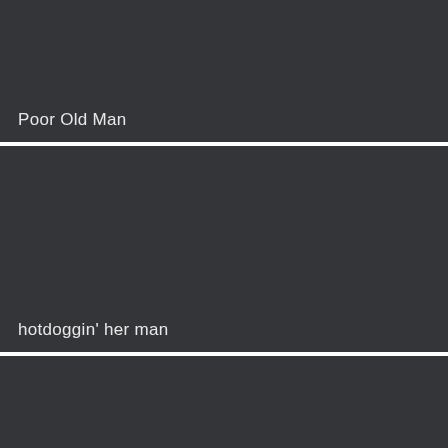[Figure (other): Dark gray panel with label 'Poor Old Man' at bottom left]
Poor Old Man
[Figure (other): Dark gray panel with label 'hotdoggin' her man' at bottom left]
hotdoggin' her man
[Figure (other): Dark gray panel with no visible label]